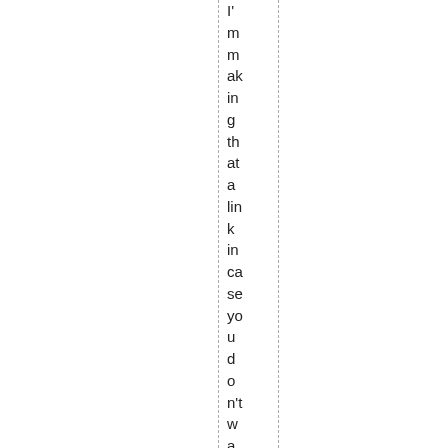I'm making that a link in case you don't want to see the backs